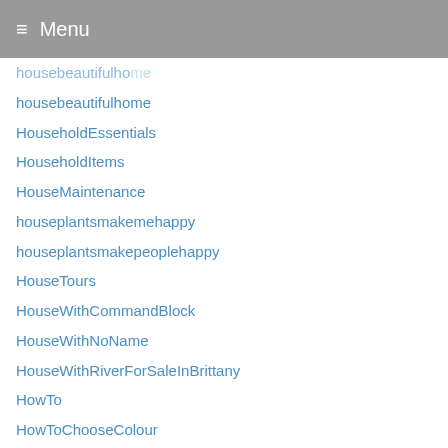Menu
housebeautifulhome
HouseholdEssentials
HouseholdItems
HouseMaintenance
houseplantsmakemehappy
houseplantsmakepeoplehappy
HouseTours
HouseWithCommandBlock
HouseWithNoName
HouseWithRiverForSaleInBrittany
HowTo
HowToChooseColour
HowToDecorateSmallSpaces
HowToMakeTheMostOfSmallSpaces
HowToStoreCardstockSheetsInClassrooms
HowToStyle